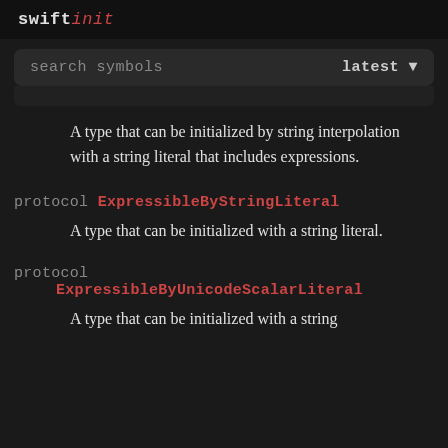swiftinit
search symbols  latest ▼
A type that can be initialized by string interpolation with a string literal that includes expressions.
protocol ExpressibleByStringLiteral
A type that can be initialized with a string literal.
protocol ExpressibleByUnicodeScalarLiteral
A type that can be initialized with a string